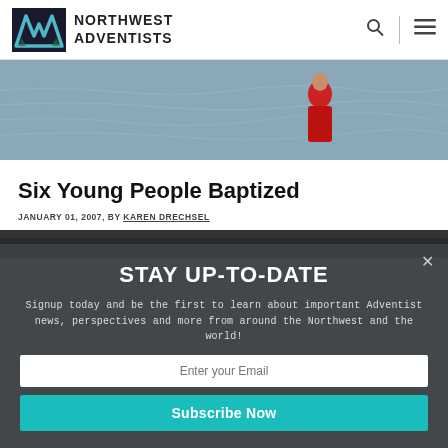NORTHWEST ADVENTISTS
[Figure (photo): Hero image of a person in a red coat standing near water]
Six Young People Baptized
JANUARY 01, 2007, BY KAREN DRECHSEL
[Figure (photo): Partial image strip at bottom of article area]
STAY UP-TO-DATE
Signup today and be the first to learn about important Adventist news, perspectives and more from around the Northwest and the world!
Enter your Email
Subscribe Now